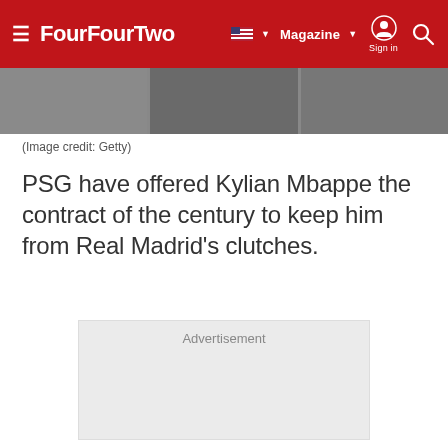FourFourTwo — Magazine | Sign in | Search
[Figure (photo): Partial image strip showing cropped sports/football photos]
(Image credit: Getty)
PSG have offered Kylian Mbappe the contract of the century to keep him from Real Madrid's clutches.
[Figure (other): Advertisement placeholder box]